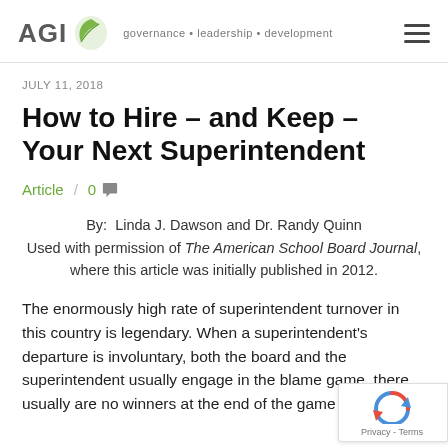AGI governance • leadership • development
JULY 11, 2018
How to Hire – and Keep – Your Next Superintendent
Article   0
By:  Linda J. Dawson and Dr. Randy Quinn
Used with permission of The American School Board Journal, where this article was initially published in 2012.
The enormously high rate of superintendent turnover in this country is legendary. When a superintendent's departure is involuntary, both the board and the superintendent usually engage in the blame game. there usually are no winners at the end of the game